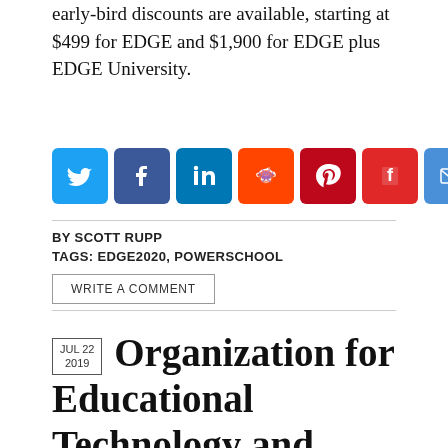early-bird discounts are available, starting at $499 for EDGE and $1,900 for EDGE plus EDGE University.
[Figure (infographic): Row of social media share buttons: Twitter (blue), Facebook (dark blue), LinkedIn (teal), Reddit (orange), Pinterest (dark red), Flipboard (red), Email (blue)]
BY SCOTT RUPP
TAGS: EDGE2020, POWERSCHOOL
WRITE A COMMENT
Organization for Educational Technology and Curriculum (OETC) Selects PowerSchool SIS To Power Member School